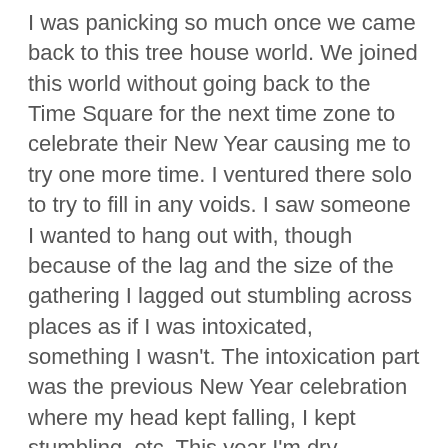I was panicking so much once we came back to this tree house world. We joined this world without going back to the Time Square for the next time zone to celebrate their New Year causing me to try one more time. I ventured there solo to try to fill in any voids. I saw someone I wanted to hang out with, though because of the lag and the size of the gathering I lagged out stumbling across places as if I was intoxicated, something I wasn't. The intoxication part was the previous New Year celebration where my head kept falling, I kept stumbling, etc. This year I'm dry.
In the end I failed my objective. Tried to return to my friends to end up seeing VRChat crash when rejoining the treehouse world. Everything is still positive so my mindset is still positive. I'm happy